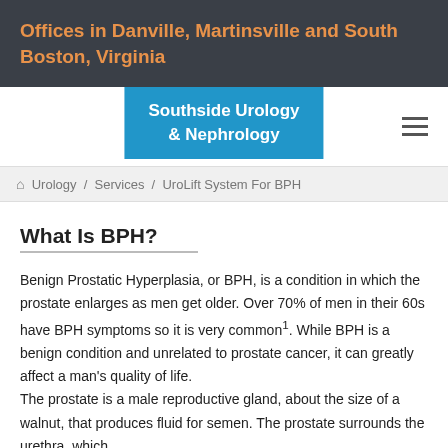Offices in Danville, Martinsville and South Boston, Virginia
[Figure (logo): Southside Urology & Nephrology logo in blue banner with hamburger menu icon]
Urology / Services / UroLift System For BPH
What Is BPH?
Benign Prostatic Hyperplasia, or BPH, is a condition in which the prostate enlarges as men get older. Over 70% of men in their 60s have BPH symptoms so it is very common¹. While BPH is a benign condition and unrelated to prostate cancer, it can greatly affect a man's quality of life.
The prostate is a male reproductive gland, about the size of a walnut, that produces fluid for semen. The prostate surrounds the urethra, which